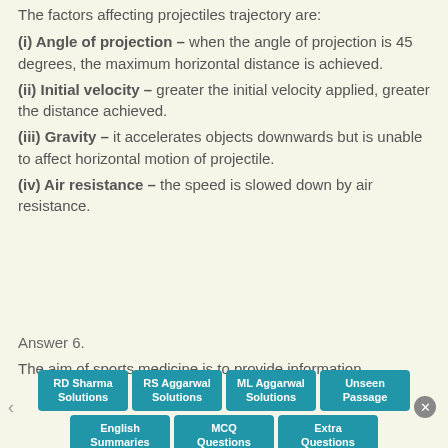The factors affecting projectiles trajectory are:
(i) Angle of projection – when the angle of projection is 45 degrees, the maximum horizontal distance is achieved.
(ii) Initial velocity – greater the initial velocity applied, greater the distance achieved.
(iii) Gravity – it accelerates objects downwards but is unable to affect horizontal motion of projectile.
(iv) Air resistance – the speed is slowed down by air resistance.
Answer 6.
The aim of sports medicine is to provide information
[Figure (other): Navigation bar with buttons: RD Sharma Solutions, RS Aggarwal Solutions, ML Aggarwal Solutions, Unseen Passage, English Summaries, MCQ Questions, Extra Questions, and a close button]